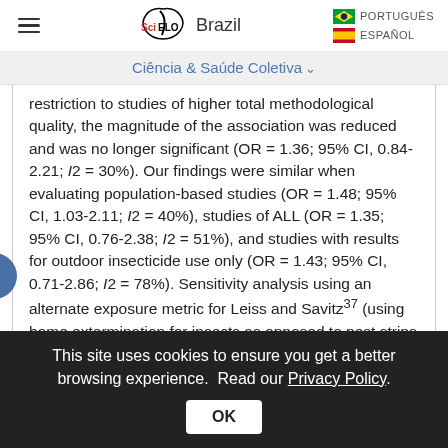SciELO Brazil | PORTUGUÊS | ESPAÑOL
Ciência & Saúde Coletiva
restriction to studies of higher total methodological quality, the magnitude of the association was reduced and was no longer significant (OR = 1.36; 95% CI, 0.84-2.21; I2 = 30%). Our findings were similar when evaluating population-based studies (OR = 1.48; 95% CI, 1.03-2.11; I2 = 40%), studies of ALL (OR = 1.35; 95% CI, 0.76-2.38; I2 = 51%), and studies with results for outdoor insecticide use only (OR = 1.43; 95% CI, 0.71-2.86; I2 = 78%). Sensitivity analysis using an alternate exposure metric for Leiss and Savitz37 (using home extermination for insects as opposed to pest strips
This site uses cookies to ensure you get a better browsing experience. Read our Privacy Policy. OK